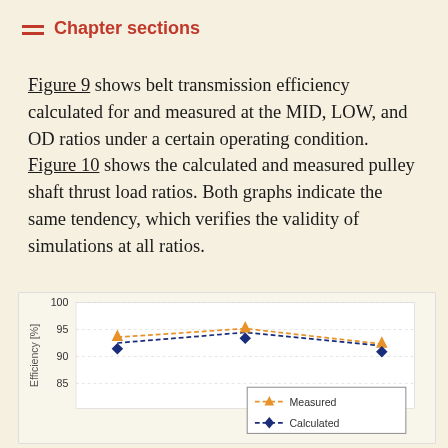Chapter sections
Figure 9 shows belt transmission efficiency calculated for and measured at the MID, LOW, and OD ratios under a certain operating condition. Figure 10 shows the calculated and measured pulley shaft thrust load ratios. Both graphs indicate the same tendency, which verifies the validity of simulations at all ratios.
[Figure (line-chart): Belt Transmission Efficiency]